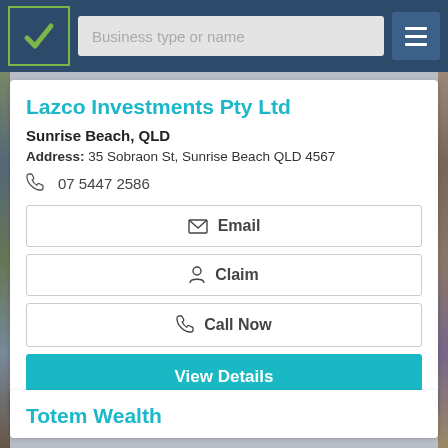[Figure (screenshot): Navigation bar with logo, search box reading 'Business type or name', and hamburger menu]
Lazco Investments Pty Ltd
Sunrise Beach, QLD
Address: 35 Sobraon St, Sunrise Beach QLD 4567
07 5447 2586
Email
Claim
Call Now
View Details
Totem Wealth